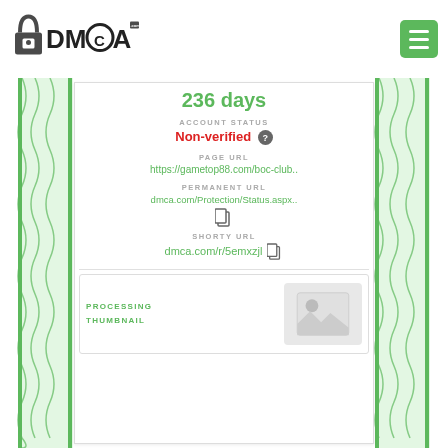[Figure (logo): DMCA.com logo with padlock icon]
236 days
ACCOUNT STATUS
Non-verified ?
PAGE URL
https://gametop88.com/boc-club..
PERMANENT URL
dmca.com/Protection/Status.aspx..
SHORTY URL
dmca.com/r/5emxzjl
PROCESSING THUMBNAIL